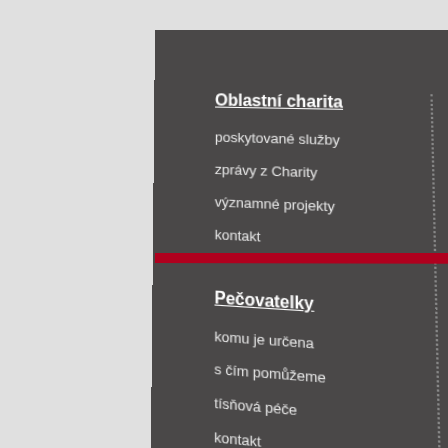Oblastní charita
poskytované služby
zprávy z Charity
významné projekty
kontakt
Hosp...
příjet...
půjčo...
kalen...
děkuj...
Pečovatelky
komu je určena
s čím pomůžeme
tísňová péče
kontakt
Háčk...
vzdě...
volno...
ubyto...
prona...